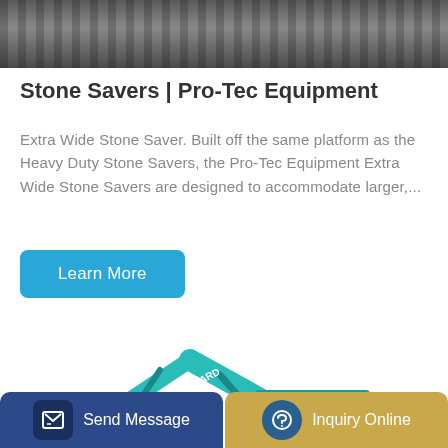[Figure (photo): Top cropped photo of heavy equipment tracks/machinery on a construction site, dark grey metallic tones]
Stone Savers | Pro-Tec Equipment
Extra Wide Stone Saver. Built off the same platform as the Heavy Duty Stone Savers, the Pro-Tec Equipment Extra Wide Stone Savers are designed to accommodate larger,...
[Figure (photo): A teal/turquoise Sunward brand excavator on a white background, showing the arm, cab, and undercarriage with tracks]
Send Message | Inquiry Online